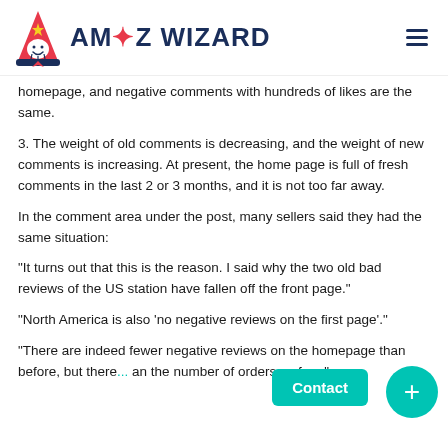AMZ WIZARD
homepage, and negative comments with hundreds of likes are the same.
3. The weight of old comments is decreasing, and the weight of new comments is increasing. At present, the home page is full of fresh comments in the last 2 or 3 months, and it is not too far away.
In the comment area under the post, many sellers said they had the same situation:
"It turns out that this is the reason. I said why the two old bad reviews of the US station have fallen off the front page."
"North America is also 'no negative reviews on the first page'."
"There are indeed fewer negative reviews on the homepage than before, but there... an the number of orders so far..."